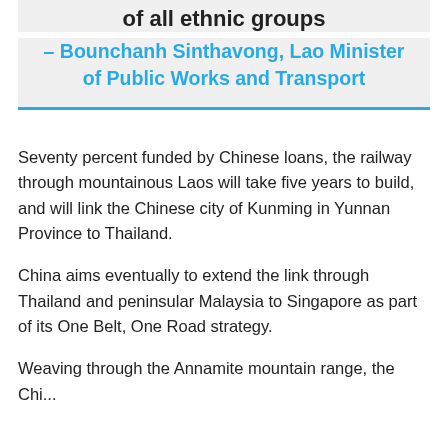of all ethnic groups
– Bounchanh Sinthavong, Lao Minister of Public Works and Transport
Seventy percent funded by Chinese loans, the railway through mountainous Laos will take five years to build, and will link the Chinese city of Kunming in Yunnan Province to Thailand.
China aims eventually to extend the link through Thailand and peninsular Malaysia to Singapore as part of its One Belt, One Road strategy.
Weaving through the Annamite mountain range, the Chi...